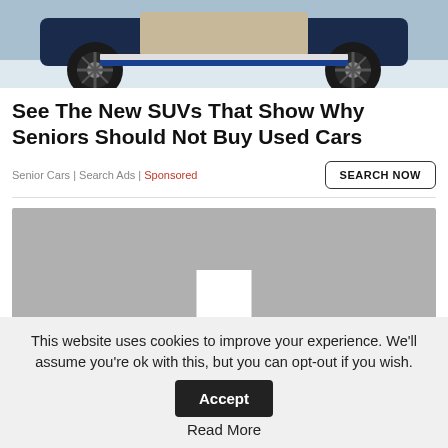[Figure (photo): SUV car photo showing undercarriage/side view with stylized wheels on snowy background]
See The New SUVs That Show Why Seniors Should Not Buy Used Cars
Senior Cars | Search Ads | Sponsored
[Figure (photo): Gray placeholder image with white rectangle in center]
This website uses cookies to improve your experience. We'll assume you're ok with this, but you can opt-out if you wish. Accept Read More